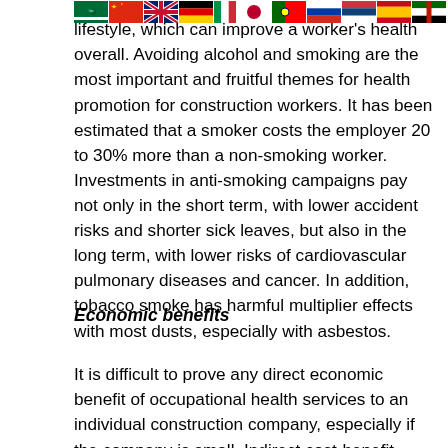[Figure (illustration): A row of international flag icons (Saudi Arabia, China, UK, Germany, Italy, Japan, Portugal, Russia, Serbia, Spain, Kenya) displayed at the top of the page]
lifestyle, which can improve a worker's health overall. Avoiding alcohol and smoking are the most important and fruitful themes for health promotion for construction workers. It has been estimated that a smoker costs the employer 20 to 30% more than a non-smoking worker. Investments in anti-smoking campaigns pay not only in the short term, with lower accident risks and shorter sick leaves, but also in the long term, with lower risks of cardiovascular pulmonary diseases and cancer. In addition, tobacco smoke has harmful multiplier effects with most dusts, especially with asbestos.
Economic benefits
It is difficult to prove any direct economic benefit of occupational health services to an individual construction company, especially if the company is small. Indirect cost-benefit calculations show, however, that accident prevention and health promotion are economically beneficial. Cost-benefit calculations of investments in preventive programmes are available for occupational services as well. (To be published...)